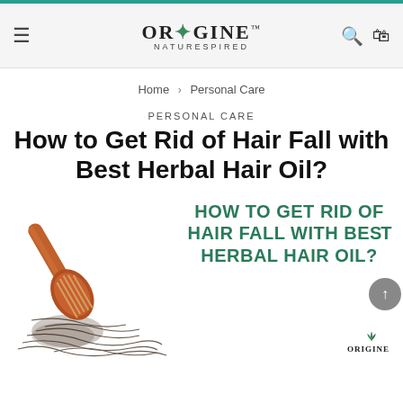ORIGINE™ NATURESPIRED — navigation header with hamburger menu, logo, search and cart icons
Home > Personal Care
PERSONAL CARE
How to Get Rid of Hair Fall with Best Herbal Hair Oil?
[Figure (photo): Hair brush with fallen hair clumped around it on a white background, alongside large teal text reading HOW TO GET RID OF HAIR FALL WITH BEST HERBAL HAIR OIL?]
[Figure (logo): Origine Naturespired logo watermark at bottom right corner]